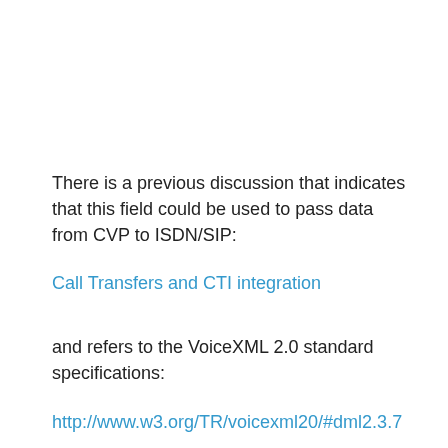There is a previous discussion that indicates that this field could be used to pass data from CVP to ISDN/SIP:
Call Transfers and CTI integration
and refers to the VoiceXML 2.0 standard specifications:
http://www.w3.org/TR/voicexml20/#dml2.3.7
But I am still trying to understand how 'aai' is used as part of the standard transfer element. Is the contents of this field